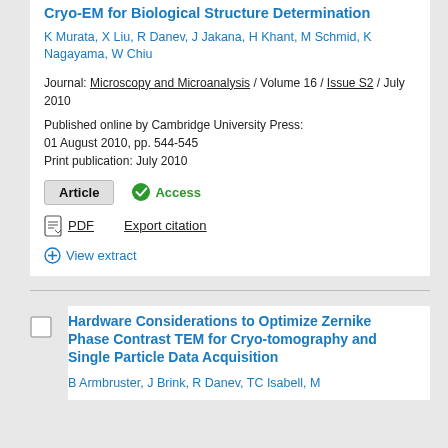Cryo-EM for Biological Structure Determination
K Murata, X Liu, R Danev, J Jakana, H Khant, M Schmid, K Nagayama, W Chiu
Journal: Microscopy and Microanalysis / Volume 16 / Issue S2 / July 2010
Published online by Cambridge University Press: 01 August 2010, pp. 544-545
Print publication: July 2010
Article  ✓ Access
PDF  Export citation
+ View extract
Hardware Considerations to Optimize Zernike Phase Contrast TEM for Cryo-tomography and Single Particle Data Acquisition
B Armbruster, J Brink, R Danev, TC Isabell, M